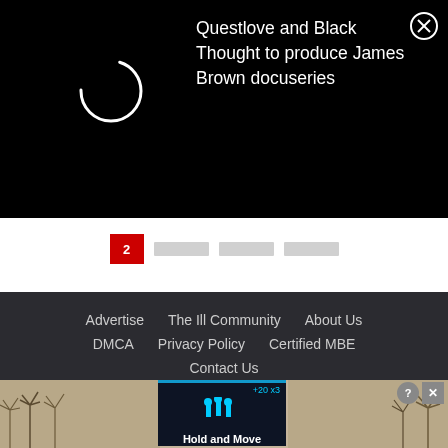[Figure (screenshot): Black notification overlay with spinner and text: Questlove and Black Thought to produce James Brown docuseries]
Questlove and Black Thought to produce James Brown docuseries
[Figure (screenshot): Pagination strip with red active button]
Advertise   The Ill Community   About Us   DMCA   Privacy Policy   Certified MBE   Contact Us
Copyright © 2022 AllHipHop.com LLC 2022-Infinity
[Figure (screenshot): Advertisement banner at bottom showing Hold and Move ad with winter scene background and digital display screen]